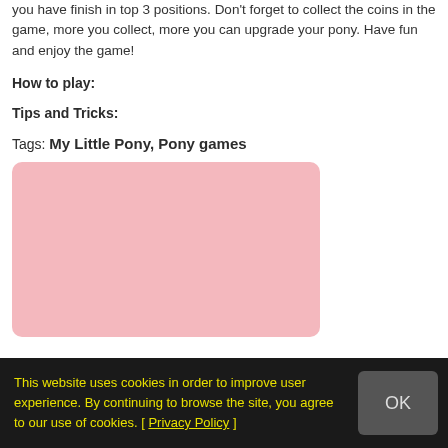you have finish in top 3 positions. Don't forget to collect the coins in the game, more you collect, more you can upgrade your pony. Have fun and enjoy the game!
How to play:
Tips and Tricks:
Tags: My Little Pony, Pony games
[Figure (other): Pink rounded rectangle placeholder image area]
This website uses cookies in order to improve user experience. By continuing to browse the site, you agree to our use of cookies. [ Privacy Policy ]